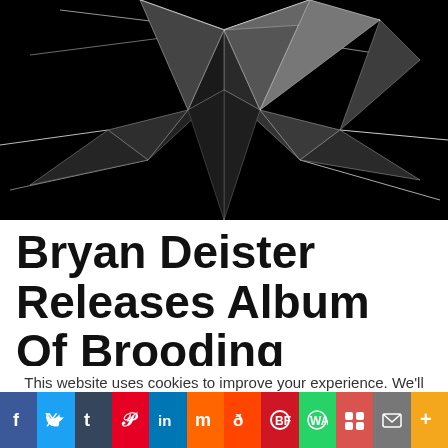[Figure (illustration): Black background with abstract shattered glass / geometric spiky polygon artwork in dark gray and white tones]
Bryan Deister Releases Album Of Brooding
This website uses cookies to improve your experience. We'll assume you're ok with this, but you can opt-out if you wish.